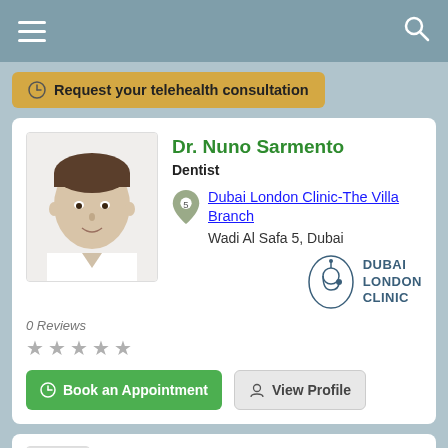Navigation bar with menu and search icons
Request your telehealth consultation
Dr. Nuno Sarmento
Dentist
Dubai London Clinic-The Villa Branch
Wadi Al Safa 5, Dubai
0 Reviews
★★★★★
Book an Appointment
View Profile
Dr. Sarieh Alouch BDS
Dentist